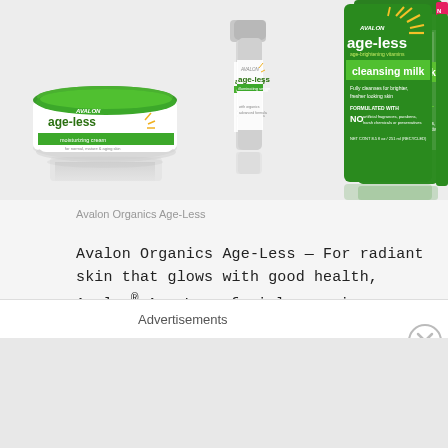[Figure (photo): Four Avalon Organics Age-Less product bottles and jars displayed: a moisturizing cream jar with green lid, a serum bottle, a cleansing milk bottle, and a daily moisturizer with SPF 15 — all featuring green and white labels with the age-less branding and a sunburst graphic.]
Avalon Organics Age-Less
Avalon Organics Age-Less — For radiant skin that glows with good health, Avalon® Age-Less facial care is a daily dose of vitamins and age-defying nourishment. Featuring a perfectly calibrated multivitamin complex of Vitamins A, B, C, D, E and K
Advertisements